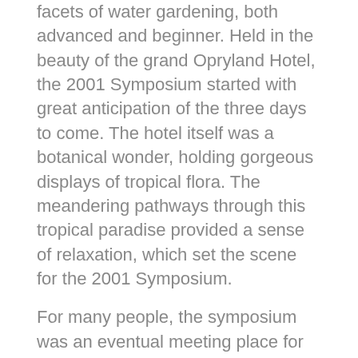facets of water gardening, both advanced and beginner. Held in the beauty of the grand Opryland Hotel, the 2001 Symposium started with great anticipation of the three days to come. The hotel itself was a botanical wonder, holding gorgeous displays of tropical flora. The meandering pathways through this tropical paradise provided a sense of relaxation, which set the scene for the 2001 Symposium.
For many people, the symposium was an eventual meeting place for individuals who had talked over the phone or internet but had never met in person. For others, the symposium was a reunion of old friends, who share a few days out of their busy lives each year for the purpose of educating others. The majestic quality found in each symposium, is a direct result of this diverse and highly knowledgeable group, which gathers to share their experiences and